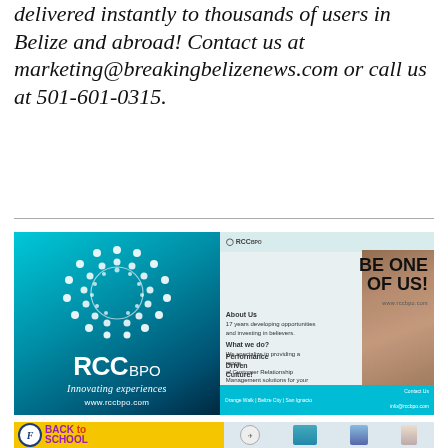delivered instantly to thousands of users in Belize and abroad! Contact us at marketing@breakingbelizenews.com or call us at 501-601-0315.
[Figure (advertisement): RCC BPO advertisement. Left panel: teal/blue gradient background with white dot-circle logo, 'RCC BPO' branding, 'Innovating experiences' tagline, www.rccbpo.com URL. Right panel: light background with 'BE ONE OF US!' text, RCC BPO logo, About Us and What we do sections, Performance Driven Culture text, photo of a smiling woman, teal bottom bar with 'Orange Walk | Belize City | San Ignacio' and 'info@rccbpo.com'.]
[Figure (advertisement): Bottom partially visible advertisement. Left panel: yellow background with Pacific Systems logo (circular F logo), 'BACK TO SCHOOL' text in purple and red, 'Grundfos Headsets' text. Right panel: travel/collage themed images.]